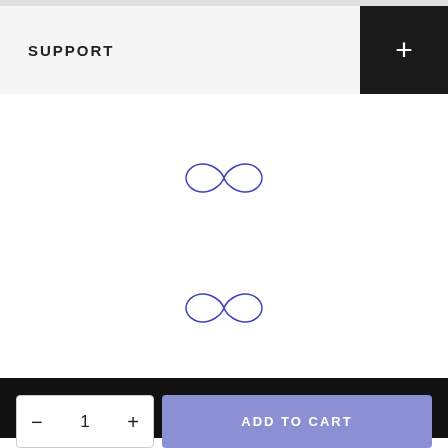SUPPORT
[Figure (other): Loading spinner (infinity/loop SVG icon) in blue outline, centered in white area]
[Figure (other): Loading spinner (infinity/loop SVG icon) in blue outline, centered in white area]
— 1 +   ADD TO CART